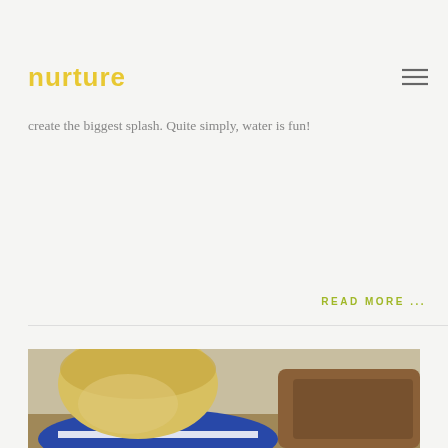nurture
Puddles, spray bottles, paddling pools and rain. These bring happy childhood memories for me, particularly wading in very large, muddy puddles! Even now, with the children in the car we search for the best puddles to drive through to create the biggest splash. Quite simply, water is fun!
READ MORE ...
[Figure (photo): A young blonde child in a blue and white striped jacket bending down close to a dirt mound or soil pile outdoors, examining it closely.]